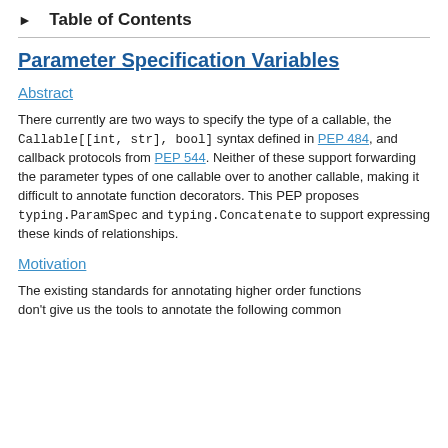▶  Table of Contents
Parameter Specification Variables
Abstract
There currently are two ways to specify the type of a callable, the Callable[[int, str], bool] syntax defined in PEP 484, and callback protocols from PEP 544. Neither of these support forwarding the parameter types of one callable over to another callable, making it difficult to annotate function decorators. This PEP proposes typing.ParamSpec and typing.Concatenate to support expressing these kinds of relationships.
Motivation
The existing standards for annotating higher order functions don't give us the tools to annotate the following common